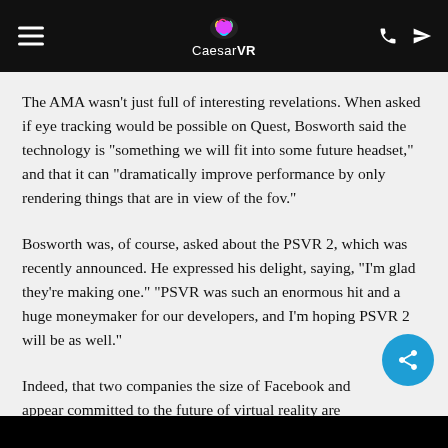CaesarVR
The AMA wasn’t just full of interesting revelations. When asked if eye tracking would be possible on Quest, Bosworth said the technology is “something we will fit into some future headset,” and that it can “dramatically improve performance by only rendering things that are in view of the fov.”
Bosworth was, of course, asked about the PSVR 2, which was recently announced. He expressed his delight, saying, “I’m glad they’re making one.” “PSVR was such an enormous hit and a huge moneymaker for our developers, and I’m hoping PSVR 2 will be as well.”
Indeed, that two companies the size of Facebook and appear committed to the future of virtual reality are